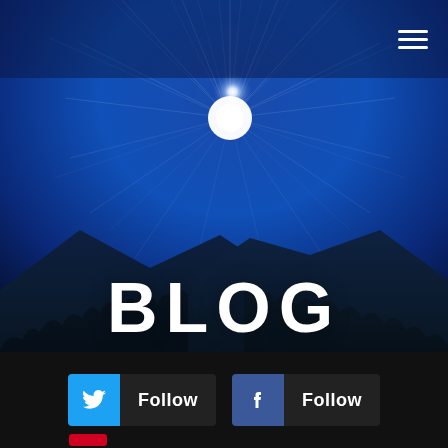[Figure (photo): Blog page hero image: mountain landscape with bright starburst sun in deep blue sky, overlaid with BLOG text in large white letters. Navigation hamburger menu in top-right. Bottom bar with Twitter and Facebook follow buttons.]
BLOG
Follow
Follow